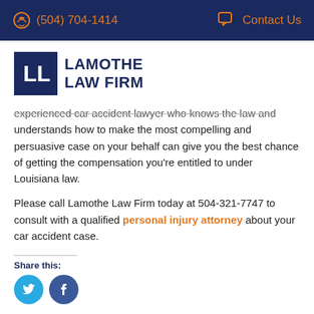(504) 704-1414   Contact Us
[Figure (logo): Lamothe Law Firm logo — dark navy square with stylized LLF letters, followed by LAMOTHE LAW FIRM text in navy]
experienced car accident lawyer who knows the law and understands how to make the most compelling and persuasive case on your behalf can give you the best chance of getting the compensation you're entitled to under Louisiana law.
Please call Lamothe Law Firm today at 504-321-7747 to consult with a qualified personal injury attorney about your car accident case.
Share this: